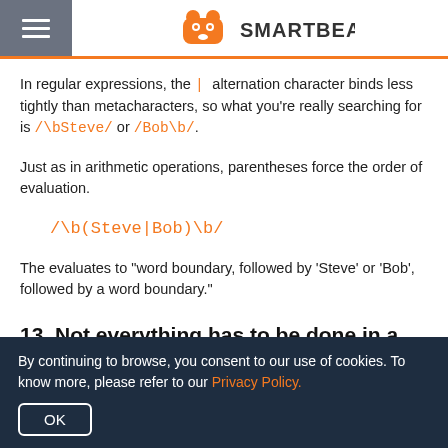SMARTBEAR
In regular expressions, the | alternation character binds less tightly than metacharacters, so what you're really searching for is /\bSteve/ or /Bob\b/.
Just as in arithmetic operations, parentheses force the order of evaluation.
The evaluates to "word boundary, followed by 'Steve' or 'Bob', followed by a word boundary."
13. Not everything has to be done in a single regex
By continuing to browse, you consent to our use of cookies. To know more, please refer to our Privacy Policy.